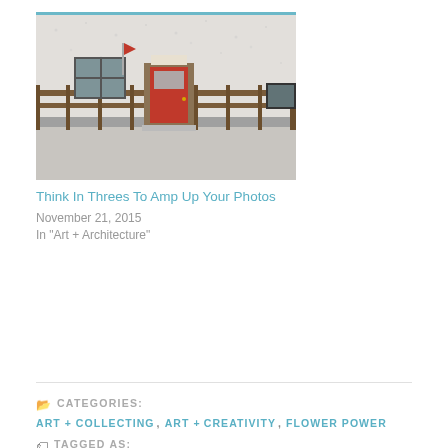[Figure (photo): Exterior of a building with a red door, textured white stucco walls, a wooden fence, and a small red flag on a pole.]
Think In Threes To Amp Up Your Photos
November 21, 2015
In "Art + Architecture"
CATEGORIES: ART + COLLECTING, ART + CREATIVITY, FLOWER POWER
TAGGED AS: BAKING PIES, BLUE GENIE ART BAZAAR, CREATIVE PROCESS, FLOWER POWER, FLOWERS, HOLIDAY ART BAZAARS, PIE, POSTADAY, PRINTMAKING, THANKSGIVING